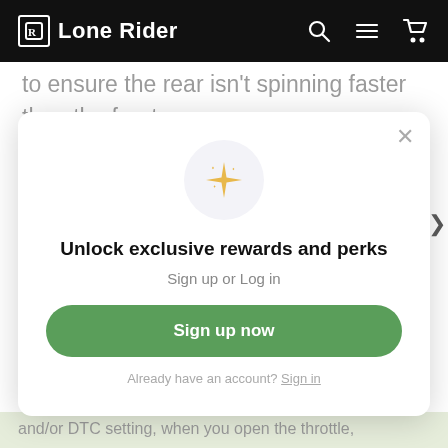Lone Rider
to ensure the rear isn't spinning faster than the front.
When you move up to the advanced level of Dynamic Traction Control the R 1250 GS is
[Figure (screenshot): Modal popup with sparkle icon, title 'Unlock exclusive rewards and perks', subtitle 'Sign up or Log in', green 'Sign up now' button, and 'Already have an account? Sign in' link.]
and/or DTC setting, when you open the throttle,